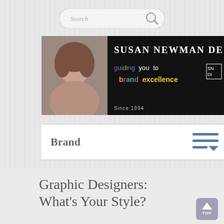[Figure (screenshot): Search bar with magnifying glass icon, rounded rectangle, placeholder text 'Search']
[Figure (logo): Susan Newman Design banner: black background, woman's photo on left, 'SUSAN NEWMAN DESIGN' title in white, tagline 'guiding you to brand excellence' in multicolor text, 'Since 1994' caption, SN/DI logo box]
Brand
Graphic Designers: What’s Your Style?